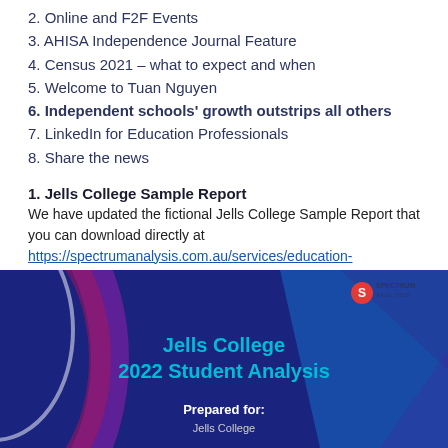2. Online and F2F Events
3. AHISA Independence Journal Feature
4. Census 2021 – what to expect and when
5. Welcome to Tuan Nguyen
6. Independent schools' growth outstrips all others
7. LinkedIn for Education Professionals
8. Share the news
1. Jells College Sample Report
We have updated the fictional Jells College Sample Report that you can download directly at https://spectrumanalysis.com.au/services/education-analysis
[Figure (illustration): Cover image of Jells College 2022 Student Analysis report with Spectrum Analysis logo, dark blue background with geometric shapes and cyan text reading 'Jells College 2022 Student Analysis' and 'Prepared for:']